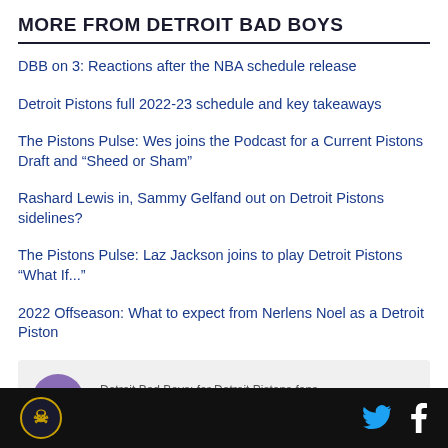MORE FROM DETROIT BAD BOYS
DBB on 3: Reactions after the NBA schedule release
Detroit Pistons full 2022-23 schedule and key takeaways
The Pistons Pulse: Wes joins the Podcast for a Current Pistons Draft and “Sheed or Sham”
Rashard Lewis in, Sammy Gelfand out on Detroit Pistons sidelines?
The Pistons Pulse: Laz Jackson joins to play Detroit Pistons “What If...”
2022 Offseason: What to expect from Nerlens Noel as a Detroit Piston
[Figure (other): Podcast player widget showing Detroit Bad Boys podcast. Purple circular play button on left. Text reads: Detroit Bad Boys: for Detroit Pistons fans / Detroit Bad Boys Podcast: Viva L...]
Detroit Bad Boys logo | Twitter icon | Facebook icon